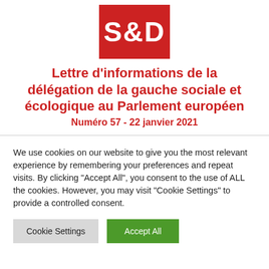[Figure (logo): S&D logo: white text 'S&D' on a red square background]
Lettre d'informations de la délégation de la gauche sociale et écologique au Parlement européen
Numéro 57 - 22 janvier 2021
We use cookies on our website to give you the most relevant experience by remembering your preferences and repeat visits. By clicking "Accept All", you consent to the use of ALL the cookies. However, you may visit "Cookie Settings" to provide a controlled consent.
Cookie Settings | Accept All